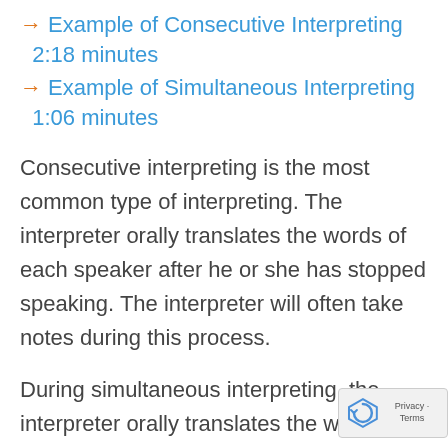→ Example of Consecutive Interpreting 2:18 minutes
→ Example of Simultaneous Interpreting 1:06 minutes
Consecutive interpreting is the most common type of interpreting. The interpreter orally translates the words of each speaker after he or she has stopped speaking. The interpreter will often take notes during this process.
During simultaneous interpreting, the interpreter orally translates the words of